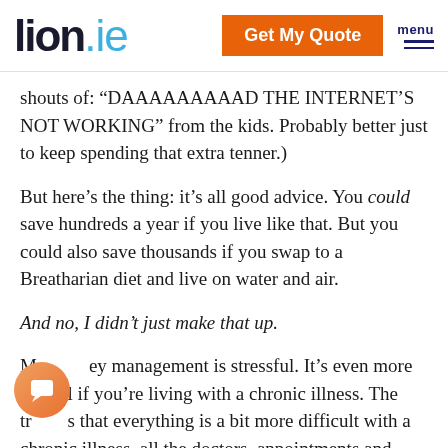lion.ie | Get My Quote | menu
shouts of: “DAAAAAAAAAD THE INTERNET’S NOT WORKING” from the kids. Probably better just to keep spending that extra tenner.)
But here’s the thing: it’s all good advice. You could save hundreds a year if you live like that. But you could also save thousands if you swap to a Breatharian diet and live on water and air.
And no, I didn’t just make that up.
Money management is stressful. It’s even more stressful if you’re living with a chronic illness. The truth is that everything is a bit more difficult with a chronic illness, all the doctors, appointments and